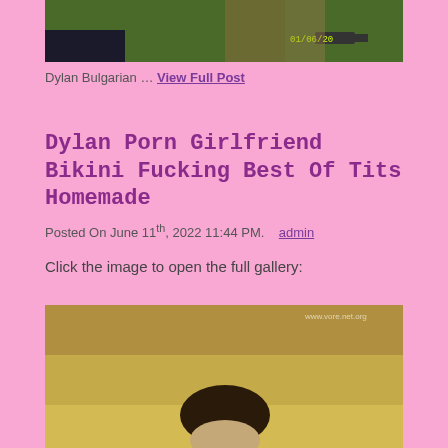[Figure (photo): Top partial image showing outdoor scene with grass and a car, timestamp 01/06/20 visible]
Dylan Bulgarian … View Full Post
Dylan Porn Girlfriend Bikini Fucking Best Of Tits Homemade
Posted On June 11th, 2022 11:44 PM.   admin
Click the image to open the full gallery:
[Figure (photo): Woman with dark hair lying in dry grass/hay field, smiling at camera]